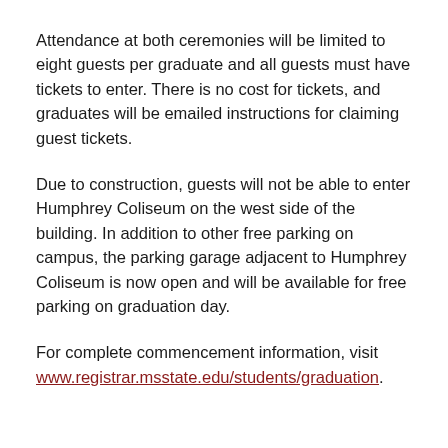Attendance at both ceremonies will be limited to eight guests per graduate and all guests must have tickets to enter. There is no cost for tickets, and graduates will be emailed instructions for claiming guest tickets.
Due to construction, guests will not be able to enter Humphrey Coliseum on the west side of the building. In addition to other free parking on campus, the parking garage adjacent to Humphrey Coliseum is now open and will be available for free parking on graduation day.
For complete commencement information, visit www.registrar.msstate.edu/students/graduation.